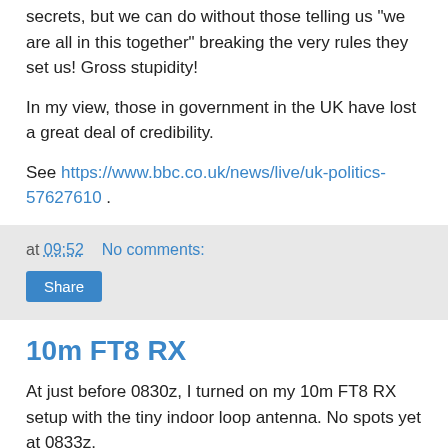secrets, but we can do without those telling us "we are all in this together" breaking the very rules they set us! Gross stupidity!
In my view, those in government in the UK have lost a great deal of credibility.
See https://www.bbc.co.uk/news/live/uk-politics-57627610 .
at 09:52   No comments:
Share
10m FT8 RX
At just before 0830z, I turned on my 10m FT8 RX setup with the tiny indoor loop antenna. No spots yet at 0833z.
UPDATE 0922z:   4 spots on RX so far.
UPDATE 1624z:   13 stations so far spotted on 10m FT8 RX